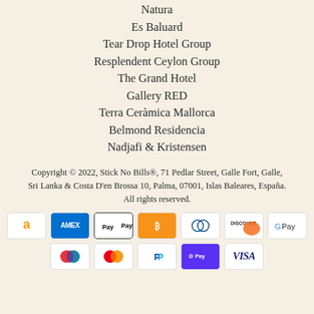Natura
Es Baluard
Tear Drop Hotel Group
Resplendent Ceylon Group
The Grand Hotel
Gallery RED
Terra Ceràmica Mallorca
Belmond Residencia
Nadjafi & Kristensen
Copyright © 2022, Stick No Bills®, 71 Pedlar Street, Galle Fort, Galle, Sri Lanka & Costa D'en Brossa 10, Palma, 07001, Islas Baleares, España. All rights reserved.
[Figure (other): Payment method icons: Amazon, Amex, Apple Pay, Bitcoin, Diners Club, Discover, Google Pay, Maestro, Mastercard, PayPal, Shop Pay, Visa]